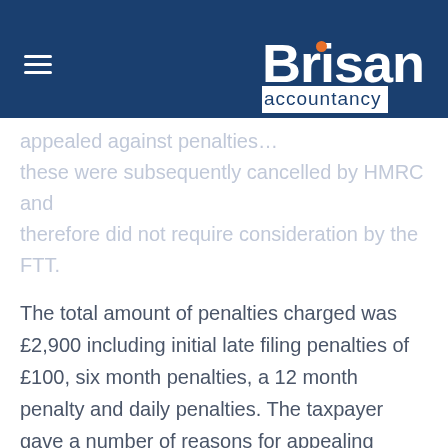[Figure (logo): Brisan Accountancy logo with dark blue header bar, hamburger menu icon on left, white bold 'Brisan' text with orange dot above 'i', and 'accountancy' in dark blue text below on white background]
appealed against penalties... these were subsequently cancelled by HMRC and therefore did not require consideration by the FTT.
The total amount of penalties charged was £2,900 including initial late filing penalties of £100, six month penalties, a 12 month penalty and daily penalties. The taxpayer gave a number of reasons for appealing against the penalties out of time. This included the fact that she was suffering from post-natal depression and that she did not remember receiving any tax forms/returns to complete for the years in question.